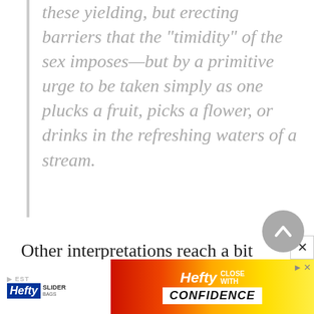these yielding, but erecting barriers that the "timidity" of the sex imposes—but by a primitive urge to be taken simply as one plucks a fruit, picks a flower, or drinks in the refreshing waters of a stream.
Other interpretations reach a bit deeper into the waters and portray Juana de Ibarbourou as a woman who dared to come to terms with the pos...
[Figure (other): Advertisement banner for Hefty Slider bags with 'CLOSE WITH CONFIDENCE' text, colorful red-yellow gradient background]